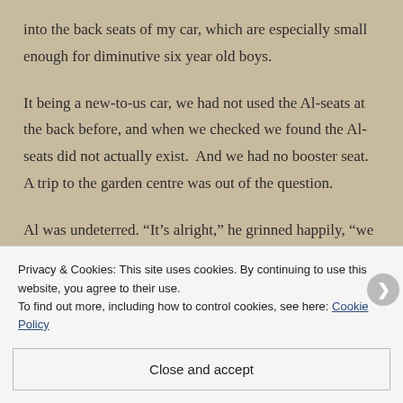into the back seats of my car, which are especially small enough for diminutive six year old boys.
It being a new-to-us car, we had not used the Al-seats at the back before, and when we checked we found the Al-seats did not actually exist.  And we had no booster seat. A trip to the garden centre was out of the question.
Al was undeterred. “It’s alright,” he grinned happily, “we can dig in the garden!”
Privacy & Cookies: This site uses cookies. By continuing to use this website, you agree to their use.
To find out more, including how to control cookies, see here: Cookie Policy
Close and accept